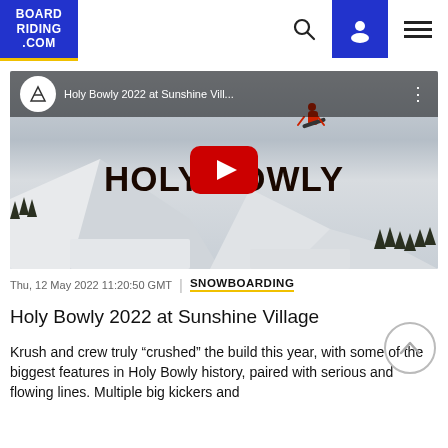BOARD RIDING .COM
[Figure (screenshot): YouTube video thumbnail for 'Holy Bowly 2022 at Sunshine Vill...' showing a snowboarder in the air over large snow features with the text HOLY BOWLY overlaid and a red YouTube play button in the center.]
Thu, 12 May 2022 11:20:50 GMT | SNOWBOARDING
Holy Bowly 2022 at Sunshine Village
Krush and crew truly “crushed” the build this year, with some of the biggest features in Holy Bowly history, paired with serious and flowing lines. Multiple big kickers and